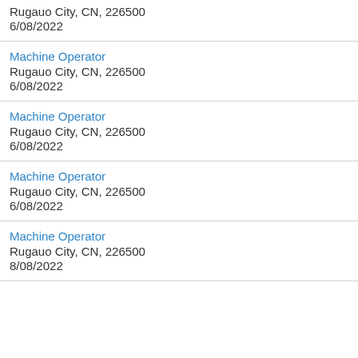Rugauo City, CN, 226500
6/08/2022
Machine Operator
Rugauo City, CN, 226500
6/08/2022
Machine Operator
Rugauo City, CN, 226500
6/08/2022
Machine Operator
Rugauo City, CN, 226500
6/08/2022
Machine Operator
Rugauo City, CN, 226500
8/08/2022